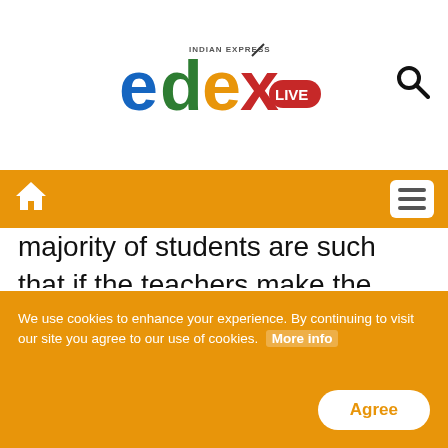[Figure (logo): Edex Live logo — Indian Express edex LIVE with colorful letters]
Navigation bar with home icon and menu icon
majority of students are such that if the teachers make the right accommodations, it works for them in an inclusive classroom even with special needs children. Contemporary research is in favour of inclusive classrooms because segregation only reinforces the idea of exclusion in their minds. This is very harmful especially in the long run. Of course, there would be some children with greater needs who require to
We use cookies to enhance your experience. By continuing to visit our site you agree to our use of cookies. More info Agree